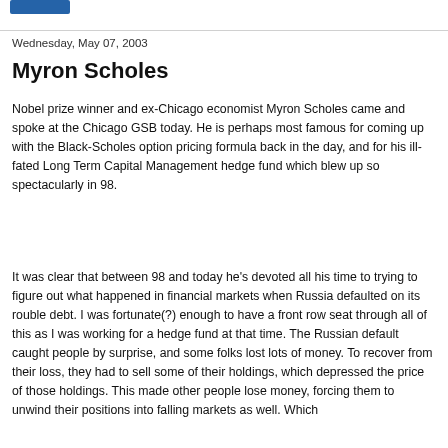Wednesday, May 07, 2003
Myron Scholes
Nobel prize winner and ex-Chicago economist Myron Scholes came and spoke at the Chicago GSB today. He is perhaps most famous for coming up with the Black-Scholes option pricing formula back in the day, and for his ill-fated Long Term Capital Management hedge fund which blew up so spectacularly in 98.
It was clear that between 98 and today he's devoted all his time to trying to figure out what happened in financial markets when Russia defaulted on its rouble debt. I was fortunate(?) enough to have a front row seat through all of this as I was working for a hedge fund at that time. The Russian default caught people by surprise, and some folks lost lots of money. To recover from their loss, they had to sell some of their holdings, which depressed the price of those holdings. This made other people lose money, forcing them to unwind their positions into falling markets as well. Which